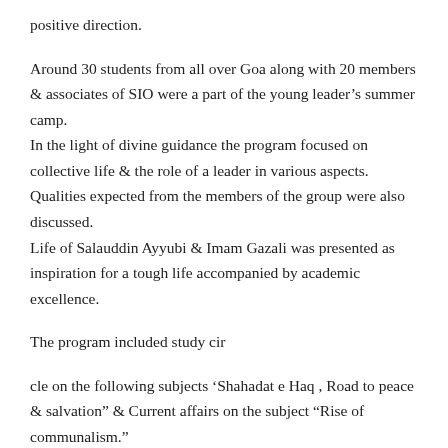positive direction.
Around 30 students from all over Goa along with 20 members & associates of SIO were a part of the young leader’s summer camp.
In the light of divine guidance the program focused on collective life & the role of a leader in various aspects. Qualities expected from the members of the group were also discussed.
Life of Salauddin Ayyubi & Imam Gazali was presented as inspiration for a tough life accompanied by academic excellence.
The program included study cir
cle on the following subjects ‘Shahadat e Haq , Road to peace & salvation” & Current affairs on the subject “Rise of communalism.”
Various aspects of social service was introduced through documentary screening. Keeping in mind the age group selective